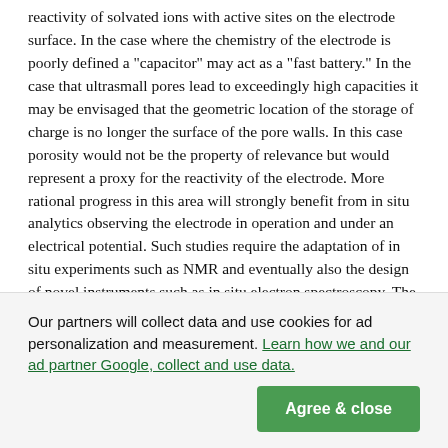reactivity of solvated ions with active sites on the electrode surface. In the case where the chemistry of the electrode is poorly defined a "capacitor" may act as a "fast battery." In the case that ultrasmall pores lead to exceedingly high capacities it may be envisaged that the geometric location of the storage of charge is no longer the surface of the pore walls. In this case porosity would not be the property of relevance but would represent a proxy for the reactivity of the electrode. More rational progress in this area will strongly benefit from in situ analytics observing the electrode in operation and under an electrical potential. Such studies require the adaptation of in situ experiments such as NMR and eventually also the design of novel instruments such as in situ electron spectroscopy. The authors note a certain tendency towards unidimensional optimizations. The quest for surface area is a typical example. It is not the BET surface area that is relevant but the active surface area (ASA) for the process (electrolyte) intended. It would thus be useful to devise experiments that use the electrolyte as probe adsorbent when steering the development of the material. Another example is the energy
Our partners will collect data and use cookies for ad personalization and measurement. Learn how we and our ad partner Google, collect and use data.
Agree & close